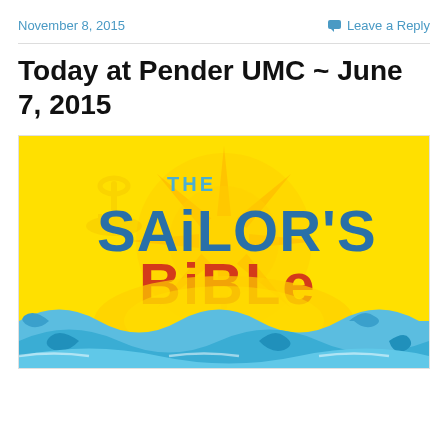November 8, 2015    Leave a Reply
Today at Pender UMC ~ June 7, 2015
[Figure (illustration): The Sailor's Bible graphic: yellow background with a compass/sun motif and ocean waves in blue, text reads 'THE SAILOR'S BIBLE' in bold styled lettering (blue and red/orange).]